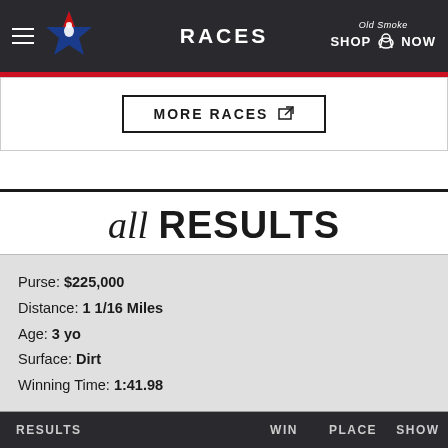RACES
MORE RACES
all RESULTS
Purse: $225,000
Distance: 1 1/16 Miles
Age: 3 yo
Surface: Dirt
Winning Time: 1:41.98
| RESULTS | WIN | PLACE | SHOW |
| --- | --- | --- | --- |